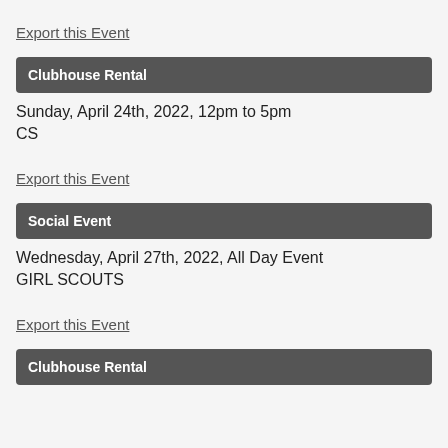Export this Event
Clubhouse Rental
Sunday, April 24th, 2022, 12pm to 5pm
CS
Export this Event
Social Event
Wednesday, April 27th, 2022, All Day Event
GIRL SCOUTS
Export this Event
Clubhouse Rental